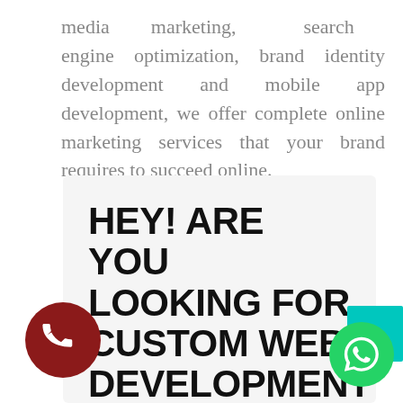media marketing, search engine optimization, brand identity development and mobile app development, we offer complete online marketing services that your brand requires to succeed online.
HEY! ARE YOU LOOKING FOR CUSTOM WEB DEVELOPMENT COMPANY IN AHMEDABAD?